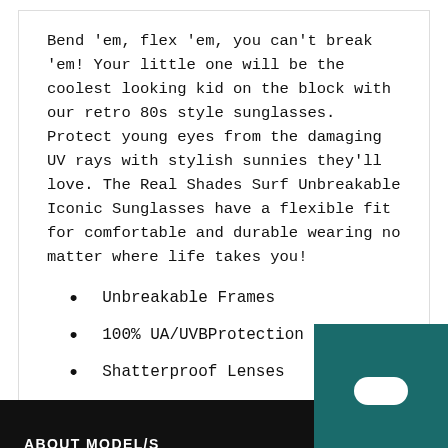Bend 'em, flex 'em, you can't break 'em! Your little one will be the coolest looking kid on the block with our retro 80s style sunglasses. Protect young eyes from the damaging UV rays with stylish sunnies they'll love. The Real Shades Surf Unbreakable Iconic Sunglasses have a flexible fit for comfortable and durable wearing no matter where life takes you!
Unbreakable Frames
100% UA/UVBProtection
Shatterproof Lenses
RETURNS & EXCHANGES
Hi. Need any help?
ABOUT MODEL/S